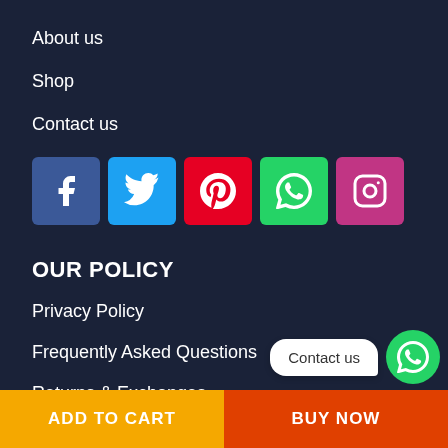About us
Shop
Contact us
[Figure (infographic): Row of five social media icon buttons: Facebook (blue), Twitter (light blue), Pinterest (red), WhatsApp (green), Instagram (pink/magenta)]
OUR POLICY
Privacy Policy
Frequently Asked Questions
Returns & Exchanges
Shipping & Delivery
[Figure (infographic): WhatsApp contact us bubble with green WhatsApp circle icon]
ADD TO CART
BUY NOW